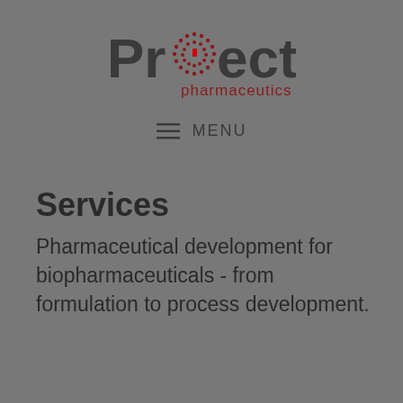[Figure (logo): Project Pharmaceutics logo — 'PrOject' in dark grey bold sans-serif with a red dot matrix globe replacing the 'o', and 'pharmaceutics' in dark red below]
≡ MENU
Services
Pharmaceutical development for biopharmaceuticals - from formulation to process development.